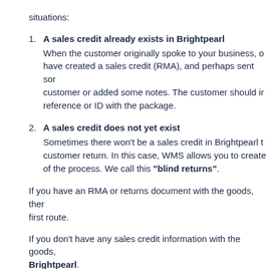situations:
1. A sales credit already exists in Brightpearl
When the customer originally spoke to your business, o... have created a sales credit (RMA), and perhaps sent so... customer or added some notes. The customer should i... reference or ID with the package.
2. A sales credit does not yet exist
Sometimes there won't be a sales credit in Brightpearl t... customer return. In this case, WMS allows you to create... of the process. We call this "blind returns".
If you have an RMA or returns document with the goods, the... first route.
If you don't have any sales credit information with the goods,... Brightpearl.
You should first search by trying to associate an existing sale... and only create a new sales credit if one is not found.